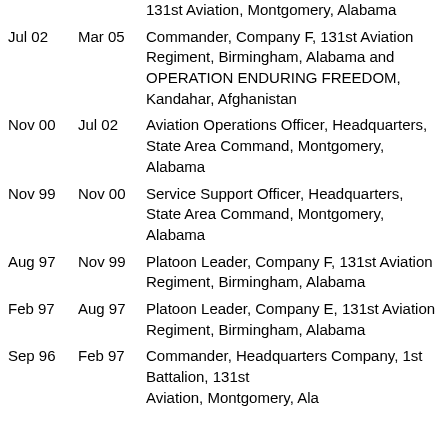131st Aviation, Montgomery, Alabama
Jul 02 – Mar 05: Commander, Company F, 131st Aviation Regiment, Birmingham, Alabama and OPERATION ENDURING FREEDOM, Kandahar, Afghanistan
Nov 00 – Jul 02: Aviation Operations Officer, Headquarters, State Area Command, Montgomery, Alabama
Nov 99 – Nov 00: Service Support Officer, Headquarters, State Area Command, Montgomery, Alabama
Aug 97 – Nov 99: Platoon Leader, Company F, 131st Aviation Regiment, Birmingham, Alabama
Feb 97 – Aug 97: Platoon Leader, Company E, 131st Aviation Regiment, Birmingham, Alabama
Sep 96 – Feb 97: Commander, Headquarters Company, 1st Battalion, 131st Aviation, Montgomery, Alabama